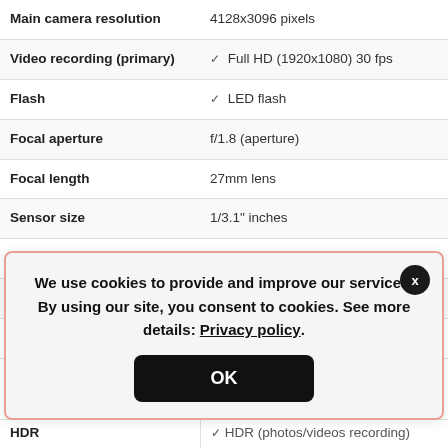| Feature | Value |
| --- | --- |
| Main camera resolution | 4128x3096 pixels |
| Video recording (primary) | ✓ Full HD (1920x1080) 30 fps |
| Flash | ✓ LED flash |
| Focal aperture | f/1.8 (aperture) |
| Focal length | 27mm lens |
| Sensor size | 1/3.1" inches |
| Pixel size | 1.12μm pixel |
| Autofocus | ✓ PDAF: phase detection autofocus |
| Touch focus | ✓ Supported |
| HDR | ✓ HDR (photos/videos recording) |
We use cookies to provide and improve our services. By using our site, you consent to cookies. See more details: Privacy policy.